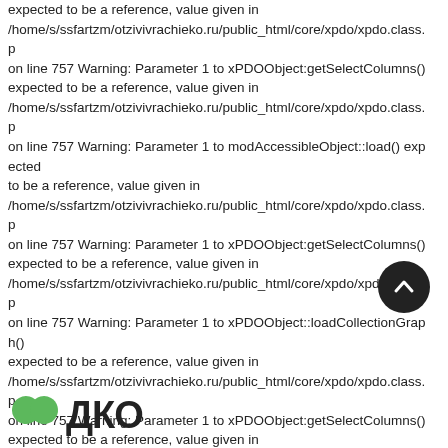expected to be a reference, value given in /home/s/ssfartzm/otzivivrachieko.ru/public_html/core/xpdo/xpdo.class.p on line 757 Warning: Parameter 1 to xPDOObject:getSelectColumns() expected to be a reference, value given in /home/s/ssfartzm/otzivivrachieko.ru/public_html/core/xpdo/xpdo.class.p on line 757 Warning: Parameter 1 to modAccessibleObject::load() expected to be a reference, value given in /home/s/ssfartzm/otzivivrachieko.ru/public_html/core/xpdo/xpdo.class.p on line 757 Warning: Parameter 1 to xPDOObject:getSelectColumns() expected to be a reference, value given in /home/s/ssfartzm/otzivivrachieko.ru/public_html/core/xpdo/xpdo.class.p on line 757 Warning: Parameter 1 to xPDOObject::loadCollectionGraph() expected to be a reference, value given in /home/s/ssfartzm/otzivivrachieko.ru/public_html/core/xpdo/xpdo.class.p on line 757 Warning: Parameter 1 to xPDOObject:getSelectColumns() expected to be a reference, value given in /home/s/ssfartzm/otzivivrachieko.ru/public_html/core/xpdo/xpdo.class.p on line 757 Warning: Parameter 1 to xPDOObject:getSelectColumns() expected to be a reference, value given in /home/s/ssfartzm/otzivivrachieko.ru/public_html/core/xpdo/xpdo.class.p on line 757
[Figure (logo): Green leaf logo with DKO text]